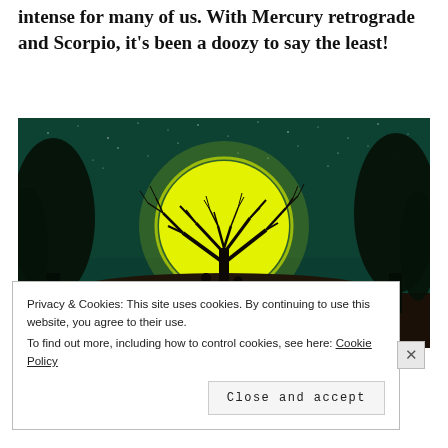intense for many of us. With Mercury retrograde and Scorpio, it's been a doozy to say the least!
[Figure (illustration): Night sky illustration showing two silhouetted figures holding hands under a large bare tree, with a glowing yellow full moon behind the tree, set against a dark teal starry sky.]
Privacy & Cookies: This site uses cookies. By continuing to use this website, you agree to their use. To find out more, including how to control cookies, see here: Cookie Policy
Close and accept